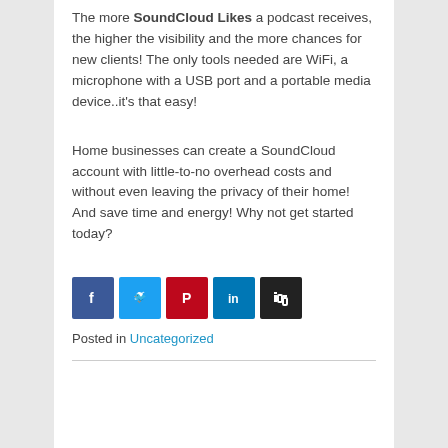The more SoundCloud Likes a podcast receives, the higher the visibility and the more chances for new clients! The only tools needed are WiFi, a microphone with a USB port and a portable media device..it's that easy!
Home businesses can create a SoundCloud account with little-to-no overhead costs and without even leaving the privacy of their home! And save time and energy! Why not get started today?
[Figure (other): Row of five social share buttons: Facebook (blue), Twitter (light blue), Pinterest (red), LinkedIn (blue), Digg (dark/black)]
Posted in Uncategorized